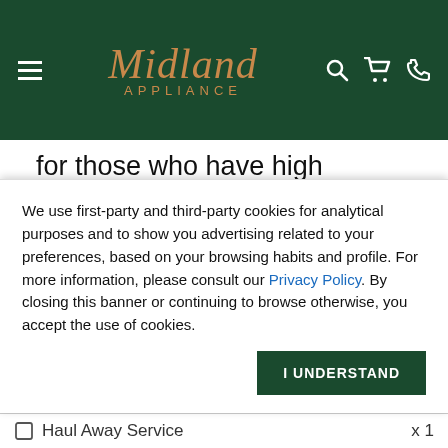Midland Appliance
for those who have high culinary standards. CornuFé offers a choice of twelve colorful finishes and three trims. The CornuFé assuredly exhibits the quality and spirit of La Cornue — made with materials and craftsmanship. Grounded, yet forward-thinking. Traditional, yet cutting-edge.
Price Starting At $8,750.00
We use first-party and third-party cookies for analytical purposes and to show you advertising related to your preferences, based on your browsing habits and profile. For more information, please consult our Privacy Policy. By closing this banner or continuing to browse otherwise, you accept the use of cookies.
I UNDERSTAND
Haul Away Service x 1